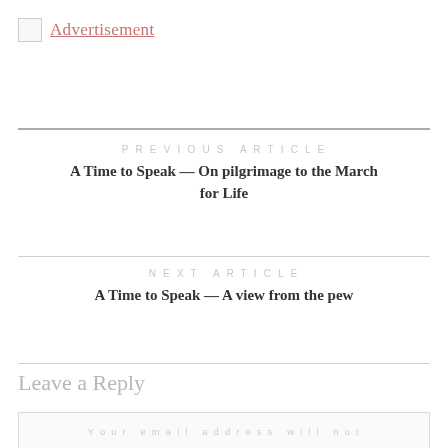[Figure (other): Advertisement placeholder image with broken image icon and 'Advertisement' link text in pink/rose color]
PREVIOUS ARTICLE
A Time to Speak — On pilgrimage to the March for Life
NEXT ARTICLE
A Time to Speak — A view from the pew
Leave a Reply
Your email address will not